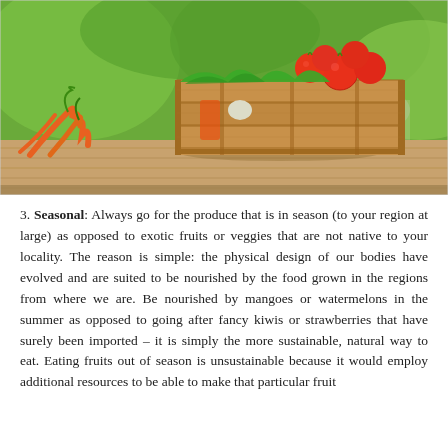[Figure (photo): A wooden crate filled with fresh vegetables and tomatoes on top, sitting on wooden planks outdoors with a green blurred background. Carrots and other vegetables are scattered to the left.]
3. Seasonal: Always go for the produce that is in season (to your region at large) as opposed to exotic fruits or veggies that are not native to your locality. The reason is simple: the physical design of our bodies have evolved and are suited to be nourished by the food grown in the regions from where we are. Be nourished by mangoes or watermelons in the summer as opposed to going after fancy kiwis or strawberries that have surely been imported – it is simply the more sustainable, natural way to eat. Eating fruits out of season is unsustainable because it would employ additional resources to be able to make that particular fruit